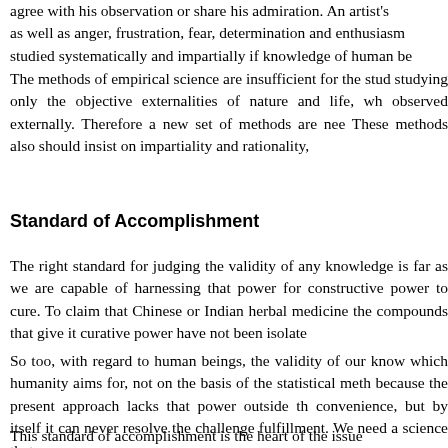agree with his observation or share his admiration. An artist's as well as anger, frustration, fear, determination and enthusiasm studied systematically and impartially if knowledge of human be
The methods of empirical science are insufficient for the stud studying only the objective externalities of nature and life, wh observed externally. Therefore a new set of methods are nee These methods also should insist on impartiality and rationality,
Standard of Accomplishment
The right standard for judging the validity of any knowledge is far as we are capable of harnessing that power for constructive power to cure. To claim that Chinese or Indian herbal medicine the compounds that give it curative power have not been isolate
So too, with regard to human beings, the validity of our know which humanity aims for, not on the basis of the statistical meth because the present approach lacks that power outside th convenience, but by itself it can never resolve the challenge fulfillment. We need a science that can.
This standard of accomplishment is the heart of the issue